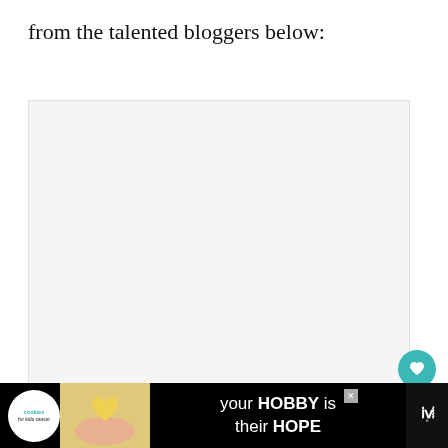from the talented bloggers below:
[Figure (photo): Large image placeholder area with light gray background, likely containing a photo of a craft or home decor item]
[Figure (screenshot): UI overlay elements: teal heart/favorite button, white share button with share icon, and a 'What's Next' preview panel showing 'Refinished Deacons...' with a thumbnail image]
[Figure (infographic): Black advertisement banner at bottom: cookies for kids cancer logo, heart-shaped cookie image, text 'your HOBBY is their HOPE', close button, and brand logo on right]